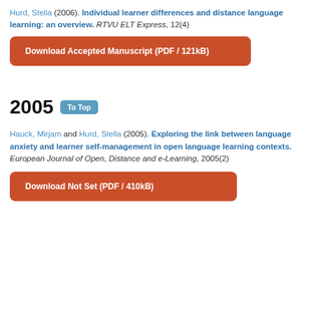Hurd, Stella (2006). Individual learner differences and distance language learning: an overview. RTVU ELT Express, 12(4)
Download Accepted Manuscript (PDF / 121kB)
2005
Hauck, Mirjam and Hurd, Stella (2005). Exploring the link between language anxiety and learner self-management in open language learning contexts. European Journal of Open, Distance and e-Learning, 2005(2)
Download Not Set (PDF / 410kB)